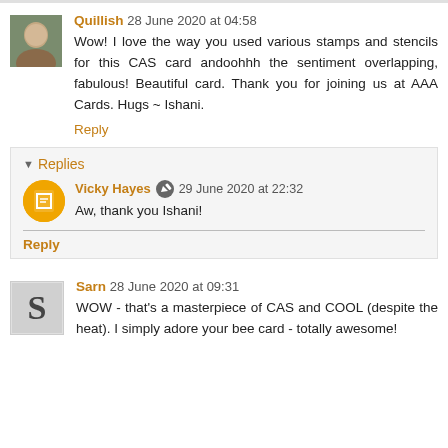Quillish 28 June 2020 at 04:58 — Wow! I love the way you used various stamps and stencils for this CAS card andoohhh the sentiment overlapping, fabulous! Beautiful card. Thank you for joining us at AAA Cards. Hugs ~ Ishani.
Reply
Replies
Vicky Hayes 29 June 2020 at 22:32 — Aw, thank you Ishani!
Reply
Sarn 28 June 2020 at 09:31 — WOW - that's a masterpiece of CAS and COOL (despite the heat). I simply adore your bee card - totally awesome!